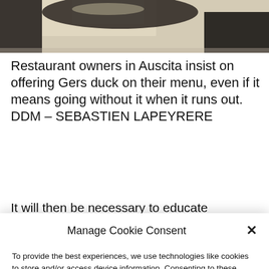[Figure (photo): Partial photo of a restaurant table setting, dark furniture visible, taken from above at an angle, with light tile floor.]
Restaurant owners in Auscita insist on offering Gers duck on their menu, even if it means going without it when it runs out. DDM – SEBASTIEN LAPEYRERE
It will then be necessary to educate
Manage Cookie Consent
To provide the best experiences, we use technologies like cookies to store and/or access device information. Consenting to these technologies will allow us to process data such as browsing behavior or unique IDs on this site. Not consenting or withdrawing consent, may adversely affect certain features and functions.
Accept
Cookie Policy